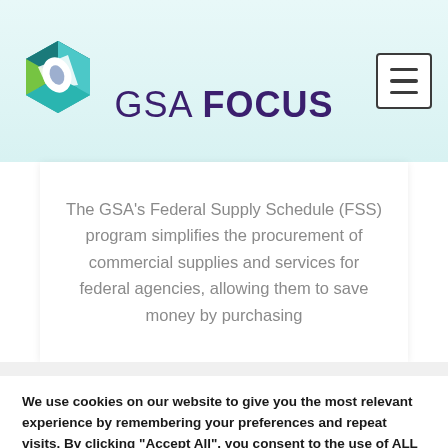[Figure (logo): GSA Focus logo with hexagonal icon in teal/green and purple wordmark reading 'GSA FOCUS']
The GSA's Federal Supply Schedule (FSS) program simplifies the procurement of commercial supplies and services for federal agencies, allowing them to save money by purchasing
We use cookies on our website to give you the most relevant experience by remembering your preferences and repeat visits. By clicking "Accept All", you consent to the use of ALL the cookies. However, you may visit "Cookie Settings" to provide a controlled consent.